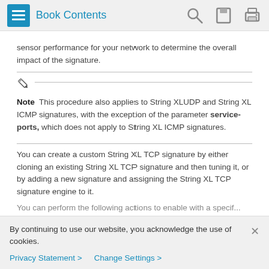Book Contents
sensor performance for your network to determine the overall impact of the signature.
Note  This procedure also applies to String XLUDP and String XL ICMP signatures, with the exception of the parameter service-ports, which does not apply to String XL ICMP signatures.
You can create a custom String XL TCP signature by either cloning an existing String XL TCP signature and then tuning it, or by adding a new signature and assigning the String XL TCP signature engine to it.
By continuing to use our website, you acknowledge the use of cookies.
Privacy Statement >   Change Settings >